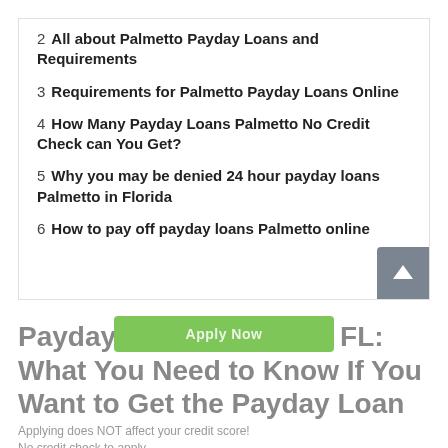2  All about Palmetto Payday Loans and Requirements
3  Requirements for Palmetto Payday Loans Online
4  How Many Payday Loans Palmetto No Credit Check can You Get?
5  Why you may be denied 24 hour payday loans Palmetto in Florida
6  How to pay off payday loans Palmetto online
Payday Loans Palmetto FL: What You Need to Know If You Want to Get the Payday Loan
Applying does NOT affect your credit score! No credit check to apply.